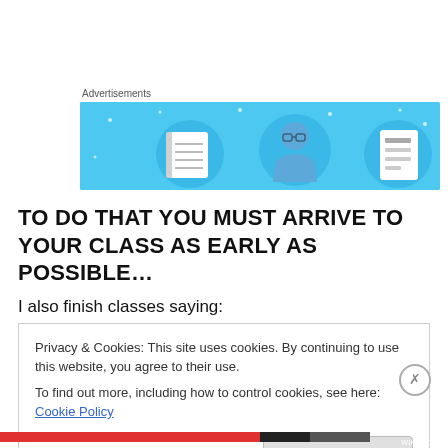Advertisements
[Figure (illustration): Advertisement banner with light blue background showing three circular icons: a notebook, a person with glasses, and a list/document icon]
TO DO THAT YOU MUST ARRIVE TO YOUR CLASS AS EARLY AS POSSIBLE…
I also finish classes saying:
Privacy & Cookies: This site uses cookies. By continuing to use this website, you agree to their use.
To find out more, including how to control cookies, see here: Cookie Policy
Close and accept